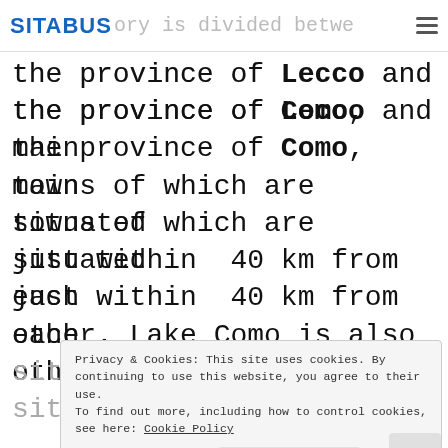SITABUS ory is divided betwe≡
the province of Lecco and the province of Como, main towns of which are situated just within 40 km from each other. Lake Como is also situated 50 km away from the main roads makes it
Privacy & Cookies: This site uses cookies. By continuing to use this website, you agree to their use.
To find out more, including how to control cookies, see here: Cookie Policy
Close and accept